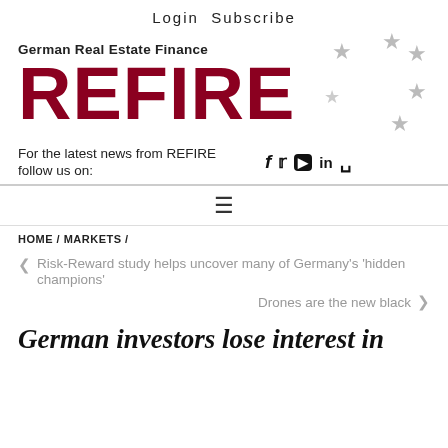Login  Subscribe
[Figure (logo): REFIRE logo with 'German Real Estate Finance' subtitle and EU-style stars arrangement in grey]
For the latest news from REFIRE follow us on:
HOME / MARKETS /
Risk-Reward study helps uncover many of Germany's 'hidden champions'
Drones are the new black
German investors lose interest in